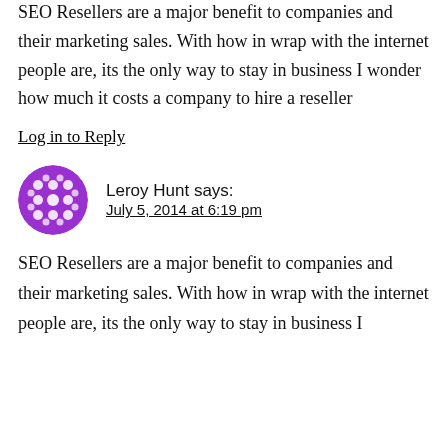SEO Resellers are a major benefit to companies and their marketing sales. With how in wrap with the internet people are, its the only way to stay in business I wonder how much it costs a company to hire a reseller
Log in to Reply
Leroy Hunt says:
July 5, 2014 at 6:19 pm
SEO Resellers are a major benefit to companies and their marketing sales. With how in wrap with the internet people are, its the only way to stay in business I